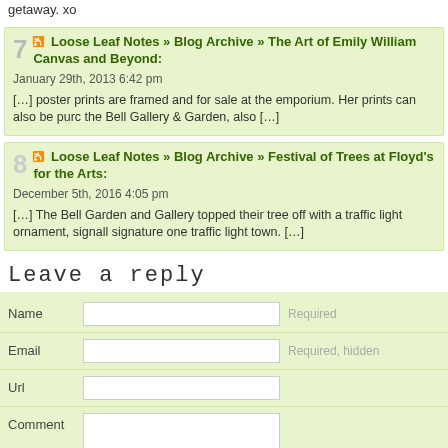getaway. xo
7 [RSS] Loose Leaf Notes » Blog Archive » The Art of Emily William Canvas and Beyond: January 29th, 2013 6:42 pm [...] poster prints are framed and for sale at the emporium. Her prints can also be purchased at the Bell Gallery & Garden, also [...]
8 [RSS] Loose Leaf Notes » Blog Archive » Festival of Trees at Floyd's for the Arts: December 5th, 2016 4:05 pm [...] The Bell Garden and Gallery topped their tree off with a traffic light ornament, signalling signature one traffic light town. [...]
Leave a reply
| Label | Input | Hint |
| --- | --- | --- |
| Name |  | Required |
| Email |  | Required, hidden |
| Url |  |  |
| Comment |  |  |